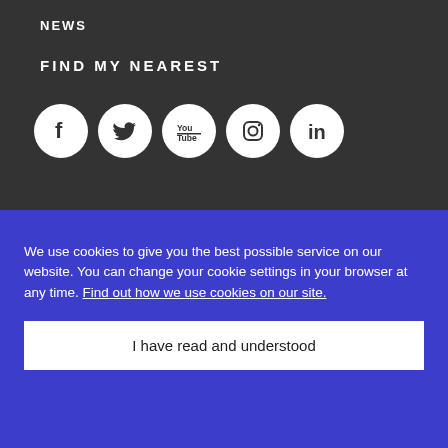NEWS
FIND MY NEAREST
[Figure (infographic): Row of five social media icons: Facebook, Twitter, YouTube, Instagram, LinkedIn — each in a white circle on dark background]
We use cookies to give you the best possible service on our website. You can change your cookie settings in your browser at any time. Find out how we use cookies on our site.
I have read and understood